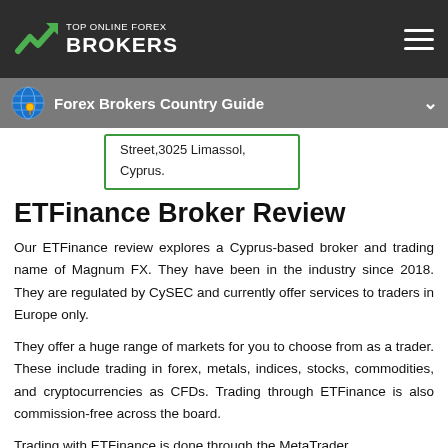TOP ONLINE FOREX BROKERS
Forex Brokers Country Guide
Street,3025 Limassol, Cyprus.
ETFinance Broker Review
Our ETFinance review explores a Cyprus-based broker and trading name of Magnum FX. They have been in the industry since 2018. They are regulated by CySEC and currently offer services to traders in Europe only.
They offer a huge range of markets for you to choose from as a trader. These include trading in forex, metals, indices, stocks, commodities, and cryptocurrencies as CFDs. Trading through ETFinance is also commission-free across the board.
Trading with ETFinance is done through the MetaTrader...